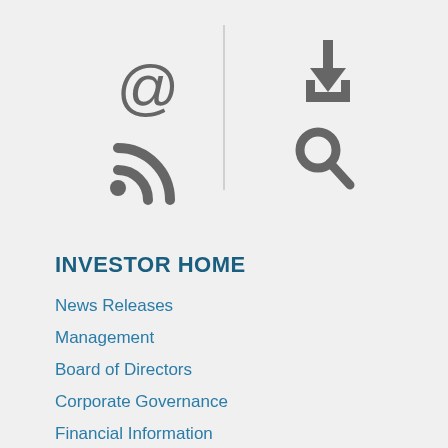[Figure (infographic): Navigation icons: @ (email), download box, RSS feed, and search magnifying glass with a vertical divider line separating left and right icon groups]
INVESTOR HOME
News Releases
Management
Board of Directors
Corporate Governance
Financial Information
SEC Filings
Quarterly Results